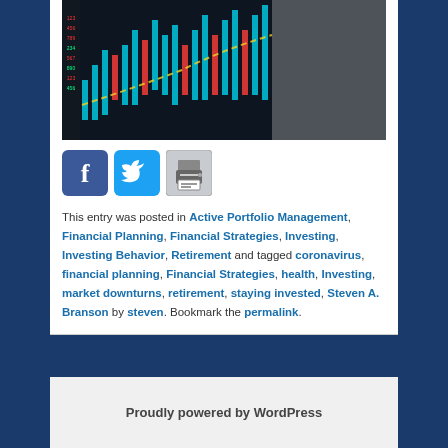[Figure (photo): Stock market trading screen showing candlestick chart with blue bars and a blurred person in background]
[Figure (infographic): Social sharing icons: Facebook (blue), Twitter (blue bird), Print (grey printer)]
This entry was posted in Active Portfolio Management, Financial Planning, Financial Strategies, Investing, Investing Behavior, Retirement and tagged coronavirus, financial planning, Financial Strategies, health, Investing, market downturns, retirement, staying invested, Steven A. Branson by steven. Bookmark the permalink.
Proudly powered by WordPress